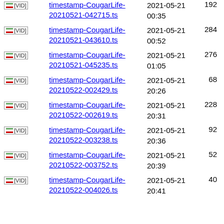[VID] timestamp-CougarLife-20210521-042715.ts 2021-05-21 00:35 192
[VID] timestamp-CougarLife-20210521-043610.ts 2021-05-21 00:52 284
[VID] timestamp-CougarLife-20210521-045235.ts 2021-05-21 01:05 276
[VID] timestamp-CougarLife-20210522-002429.ts 2021-05-21 20:26 68
[VID] timestamp-CougarLife-20210522-002619.ts 2021-05-21 20:31 228
[VID] timestamp-CougarLife-20210522-003238.ts 2021-05-21 20:36 92
[VID] timestamp-CougarLife-20210522-003752.ts 2021-05-21 20:39 52
[VID] timestamp-CougarLife-20210522-004026.ts 2021-05-21 20:41 40